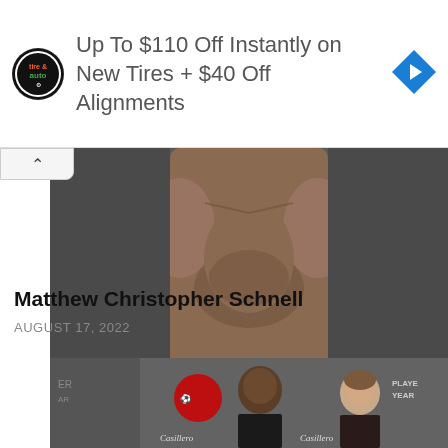[Figure (other): Advertisement banner: tire and auto service logo on left, text 'Up To $110 Off Instantly on New Tires + $40 Off Alignments', blue diamond navigation icon on right]
[Figure (photo): Shirtless male MMA fighter posing against dark background, showing upper body and chest]
Matthew Christopher Schnell
AUGUST 17, 2022
[Figure (photo): A man in a suit and a woman in formal attire at a Manchester United Player of the Year event, with Casillero del Diablo sponsor branding visible]